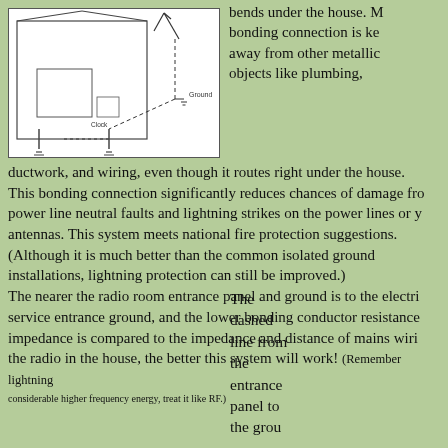[Figure (schematic): Electrical/radio grounding schematic diagram showing a house cross-section with antenna, ground connections, and labeled components including Ground and Clock labels, with dashed lines indicating bonding conductor path under the house.]
bends under the house. M... bonding connection is ke... away from other metallic objects like plumbing, ductwork, and wiring, even though it routes right under the house. This bonding connection significantly reduces chances of damage from power line neutral faults and lightning strikes on the power lines or your antennas. This system meets national fire protection suggestions. (Although it is much better than the common isolated ground installations, lightning protection can still be improved.) The nearer the radio room entrance panel and ground is to the electrical service entrance ground, and the lower bonding conductor resistance and impedance is compared to the impedance and distance of mains wiring to the radio in the house, the better this system will work! (Remember lightning has considerable higher frequency energy, treat it like RF.)
The dashed line from the entrance panel to the ground